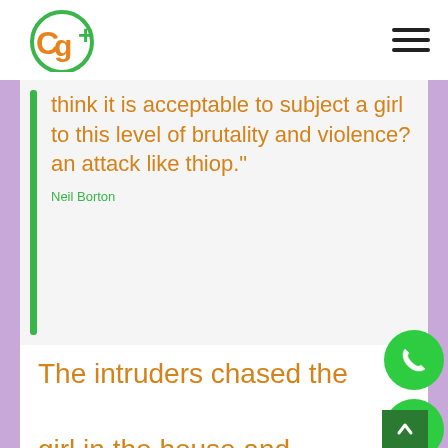CG+ logo and navigation
think it is acceptable to subject a girl to this level of brutality and violence? an attack like thiop."
Neil Borton
The intruders chased the girl in the house and
[Figure (logo): CG+ logo in green circle with green text]
[Figure (infographic): Green phone FAB button, WhatsApp FAB button, close FAB button, and scroll-to-top button]